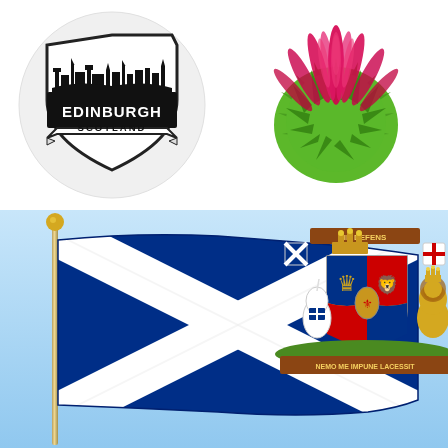[Figure (logo): Edinburgh Scotland city skyline badge logo in black and white circle]
[Figure (illustration): Scottish thistle illustration with pink/magenta petals and green leaves]
[Figure (illustration): Scottish saltire flag (white diagonal cross on blue) on a pole, with the Royal Coat of Arms of Scotland on the right, on a light blue background]